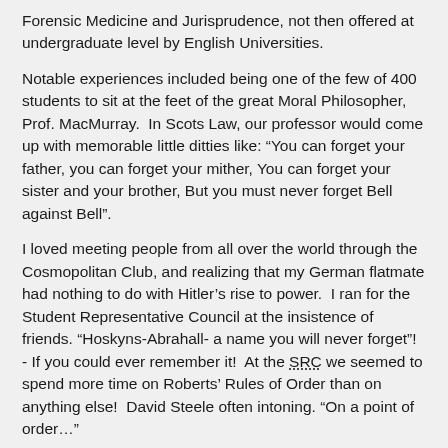Forensic Medicine and Jurisprudence, not then offered at undergraduate level by English Universities.
Notable experiences included being one of the few of 400 students to sit at the feet of the great Moral Philosopher, Prof. MacMurray.  In Scots Law, our professor would come up with memorable little ditties like: “You can forget your father, you can forget your mither, You can forget your sister and your brother, But you must never forget Bell against Bell”.
I loved meeting people from all over the world through the Cosmopolitan Club, and realizing that my German flatmate had nothing to do with Hitler’s rise to power.  I ran for the Student Representative Council at the insistence of friends. “Hoskyns-Abrahall- a name you will never forget”!  - If you could ever remember it!  At the SRC we seemed to spend more time on Roberts’ Rules of Order than on anything else!  David Steele often intoning. “On a point of order…”
A favourite memory is climbing Arthur’s Seat every May 1st at dawn after an all-night party to pretend we were worshipping as Druids.  Another is attending the Edinburgh Festival, financing tickets by working at the Festival Club as a waitress, and suggesting that, with too many staff, instead of cutting some, the manager give us all shorter hours. I was the first to be let go!  And swimming